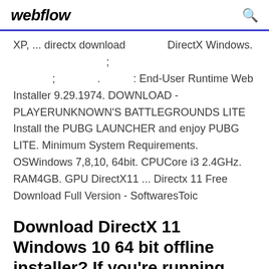webflow
XP, ... directx download                    DirectX Windows.                                              ;                 ;                  .              : End-User Runtime Web Installer 9.29.1974. DOWNLOAD - PLAYERUNKNOWN'S BATTLEGROUNDS LITE Install the PUBG LAUNCHER and enjoy PUBG LITE. Minimum System Requirements. OSWindows 7,8,10, 64bit. CPUCore i3 2.4GHz. RAM4GB. GPU DirectX11 ... Directx 11 Free Download Full Version - SoftwaresToic
Download DirectX 11 Windows 10 64 bit offline installer? If you're running Windows 10 on your PC,